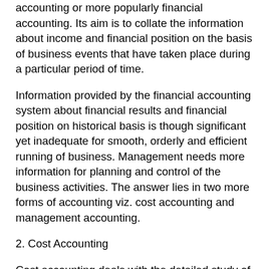accounting or more popularly financial accounting. Its aim is to collate the information about income and financial position on the basis of business events that have taken place during a particular period of time.
Information provided by the financial accounting system about financial results and financial position on historical basis is though significant yet inadequate for smooth, orderly and efficient running of business. Management needs more information for planning and control of the business activities. The answer lies in two more forms of accounting viz. cost accounting and management accounting.
2. Cost Accounting
Cost accounting deals with the detailed study of cost pertaining to cost ascertainment, cost